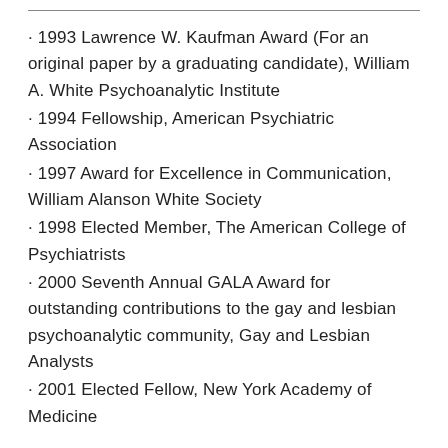· 1993 Lawrence W. Kaufman Award (For an original paper by a graduating candidate), William A. White Psychoanalytic Institute
· 1994 Fellowship, American Psychiatric Association
· 1997 Award for Excellence in Communication, William Alanson White Society
· 1998 Elected Member, The American College of Psychiatrists
· 2000 Seventh Annual GALA Award for outstanding contributions to the gay and lesbian psychoanalytic community, Gay and Lesbian Analysts
· 2001 Elected Fellow, New York Academy of Medicine